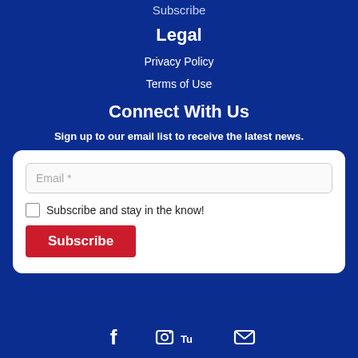Subscribe
Legal
Privacy Policy
Terms of Use
Connect With Us
Sign up to our email list to receive the latest news.
Email *
Subscribe and stay in the know!
Subscribe